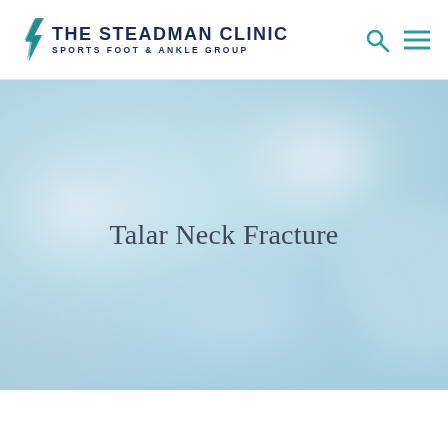THE STEADMAN CLINIC SPORTS FOOT & ANKLE GROUP
[Figure (illustration): Hero banner with soft blurred light blue background and centered text 'Talar Neck Fracture']
Talar Neck Fracture